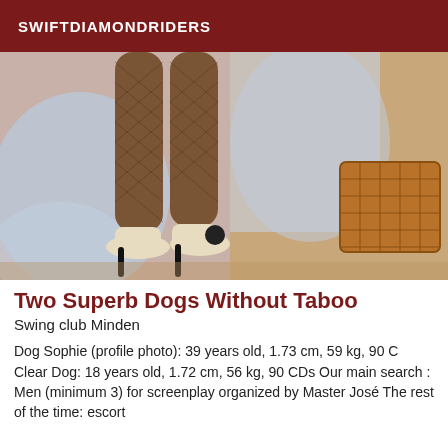SWIFTDIAMONDRIDERS
[Figure (photo): Photo showing two pairs of women's legs in fishnet stockings and high heels, with a floral/light fabric and a wicker basket in the background.]
Two Superb Dogs Without Taboo
Swing club Minden
Dog Sophie (profile photo): 39 years old, 1.73 cm, 59 kg, 90 C Clear Dog: 18 years old, 1.72 cm, 56 kg, 90 CDs Our main search : Men (minimum 3) for screenplay organized by Master José The rest of the time: escort